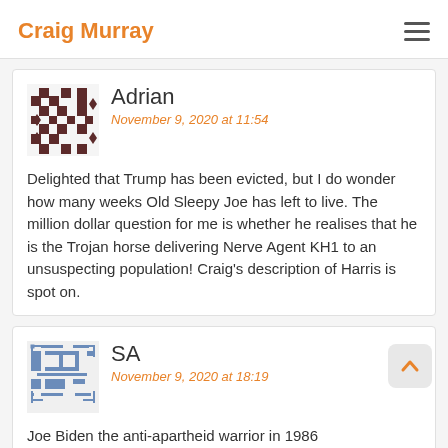Craig Murray
Adrian
November 9, 2020 at 11:54
Delighted that Trump has been evicted, but I do wonder how many weeks Old Sleepy Joe has left to live. The million dollar question for me is whether he realises that he is the Trojan horse delivering Nerve Agent KH1 to an unsuspecting population! Craig's description of Harris is spot on.
SA
November 9, 2020 at 18:19
Joe Biden the anti-apartheid warrior in 1986
https://www.youtube.com/watch?v=0_v00iGJCLY